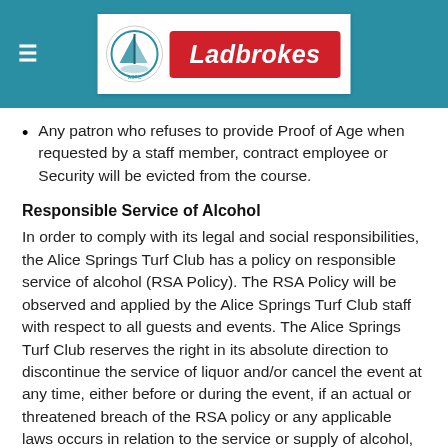Alice Springs Turf Club / Ladbrokes header
Any patron who refuses to provide Proof of Age when requested by a staff member, contract employee or Security will be evicted from the course.
Responsible Service of Alcohol
In order to comply with its legal and social responsibilities, the Alice Springs Turf Club has a policy on responsible service of alcohol (RSA Policy). The RSA Policy will be observed and applied by the Alice Springs Turf Club staff with respect to all guests and events. The Alice Springs Turf Club reserves the right in its absolute direction to discontinue the service of liquor and/or cancel the event at any time, either before or during the event, if an actual or threatened breach of the RSA policy or any applicable laws occurs in relation to the service or supply of alcohol, or behaviour of guests.
The taking of illegal drugs will not be tolerated at the Alice